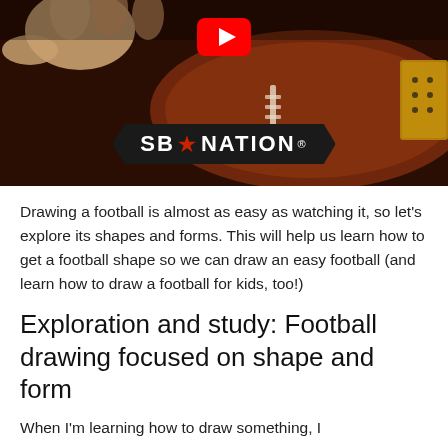[Figure (screenshot): YouTube video thumbnail showing SB Nation logo on a dark background with a football and hands, with a YouTube play button visible at the top center.]
Drawing a football is almost as easy as watching it, so let's explore its shapes and forms. This will help us learn how to get a football shape so we can draw an easy football (and learn how to draw a football for kids, too!)
Exploration and study: Football drawing focused on shape and form
When I'm learning how to draw something, I